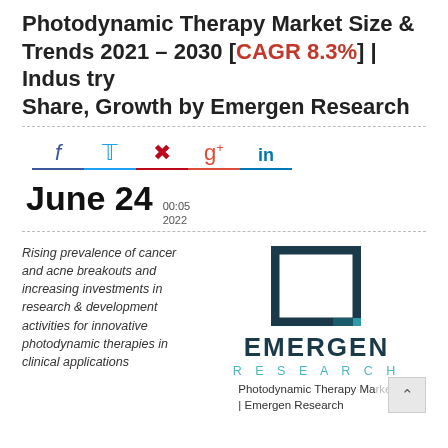Photodynamic Therapy Market Size & Trends 2021 – 2030 [CAGR 8.3%] | Industry Share, Growth by Emergen Research
[Figure (infographic): Social media sharing icons: Facebook (f), Twitter bird, Pinterest (p), Google+ (g+), LinkedIn (in), each with colored underline]
June 24  00:05 2022
Rising prevalence of cancer and acne breakouts and increasing investments in research & development activities for innovative photodynamic therapies in clinical applications
[Figure (logo): Emergen Research logo: dark navy square outline with teal corner accent, EMERGEN in bold dark navy, RESEARCH in teal spaced letters below]
Photodynamic Therapy Market | Emergen Research